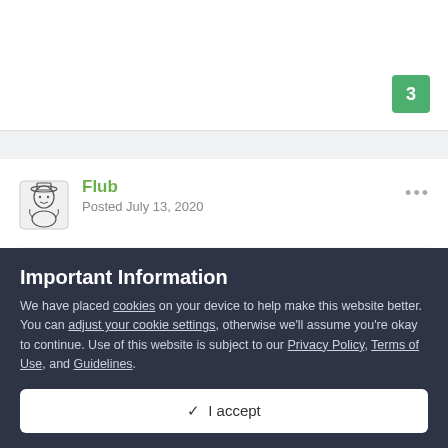3
Flub
Posted July 13, 2020
On 13/07/2020 at 22:33, DesiderVT said:
Important Information
We have placed cookies on your device to help make this website better. You can adjust your cookie settings, otherwise we'll assume you're okay to continue. Use of this website is subject to our Privacy Policy, Terms of Use, and Guidelines.
✓  I accept